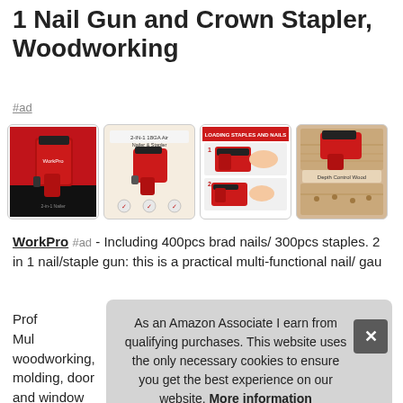1 Nail Gun and Crown Stapler, Woodworking
#ad
[Figure (photo): Four product thumbnail images of a red nail gun/stapler combo tool showing product shots, feature diagrams, staple loading instructions, and depth control on wood.]
WorkPro #ad - Including 400pcs brad nails/ 300pcs staples. 2 in 1 nail/staple gun: this is a practical multi-functional nail/ gau
Prof Mul woodworking, molding, door and window installation etc
As an Amazon Associate I earn from qualifying purchases. This website uses the only necessary cookies to ensure you get the best experience on our website. More information